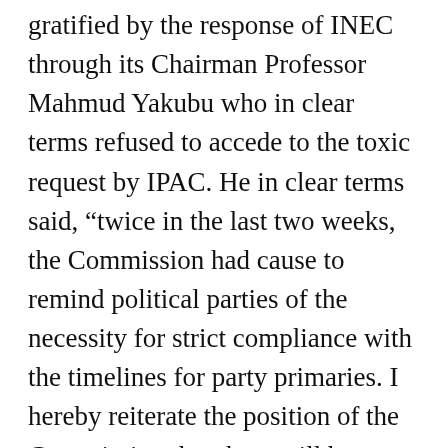gratified by the response of INEC through its Chairman Professor Mahmud Yakubu who in clear terms refused to accede to the toxic request by IPAC. He in clear terms said, “twice in the last two weeks, the Commission had cause to remind political parties of the necessity for strict compliance with the timelines for party primaries. I hereby reiterate the position of the Commission that there will be no review of the timelines. There are so many inter-related activities that are associated with the timelines which must be carried out. Any review to extend the timeline for one activity will affect other activities and put unnecessary pressure on political parties and the Commission. This will